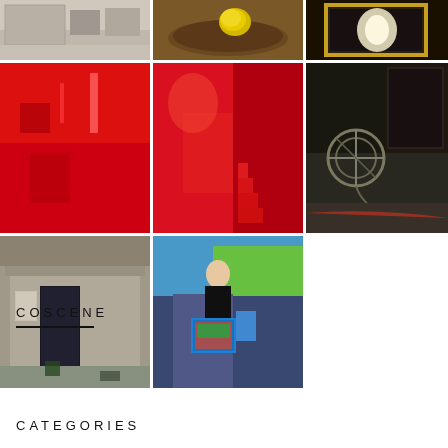[Figure (photo): Grid of 8 photographs: top row shows a building exterior (light tones), a dish with yellow object, and a mirror/window reflection with light. Middle row shows three red-toned interior/abstract photos including red room and industrial scene. Bottom row shows a concrete building entrance and a person carrying colorful bags in a parking lot.]
COSCENE
CATEGORIES